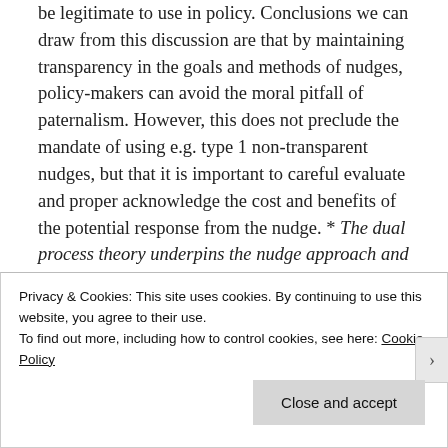be legitimate to use in policy. Conclusions we can draw from this discussion are that by maintaining transparency in the goals and methods of nudges, policy-makers can avoid the moral pitfall of paternalism. However, this does not preclude the mandate of using e.g. type 1 non-transparent nudges, but that it is important to careful evaluate and proper acknowledge the cost and benefits of the potential response from the nudge. * The dual process theory underpins the nudge approach and
Privacy & Cookies: This site uses cookies. By continuing to use this website, you agree to their use.
To find out more, including how to control cookies, see here: Cookie Policy